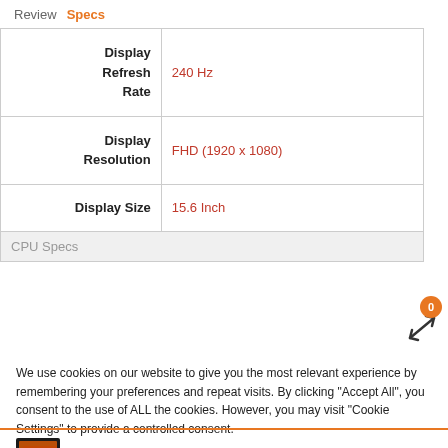Review  Specs
| Spec | Value |
| --- | --- |
| Display Refresh Rate | 240 Hz |
| Display Resolution | FHD (1920 x 1080) |
| Display Size | 15.6 Inch |
| CPU Specs |  |
We use cookies on our website to give you the most relevant experience by remembering your preferences and repeat visits. By clicking “Accept All”, you consent to the use of ALL the cookies. However, you may visit "Cookie Settings" to provide a controlled consent.
[Figure (photo): Laptop thumbnail image]